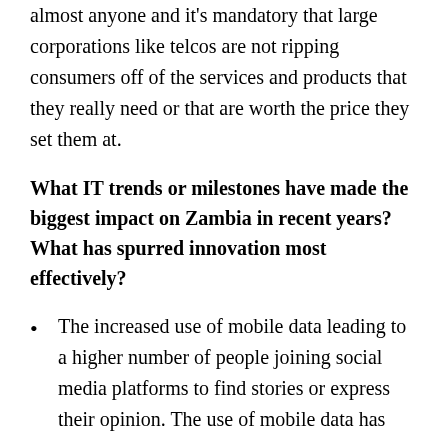almost anyone and it's mandatory that large corporations like telcos are not ripping consumers off of the services and products that they really need or that are worth the price they set them at.
What IT trends or milestones have made the biggest impact on Zambia in recent years? What has spurred innovation most effectively?
The increased use of mobile data leading to a higher number of people joining social media platforms to find stories or express their opinion. The use of mobile data has